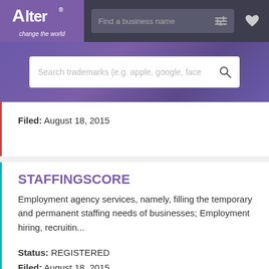[Figure (screenshot): Alter trademark search website navigation bar with purple logo, search field, filter icon, and heart icon]
[Figure (screenshot): Purple hero section with trademark search input field]
Filed: August 18, 2015
STAFFINGSCORE
Employment agency services, namely, filling the temporary and permanent staffing needs of businesses; Employment hiring, recruitin...
Status: REGISTERED
Filed: August 18, 2015